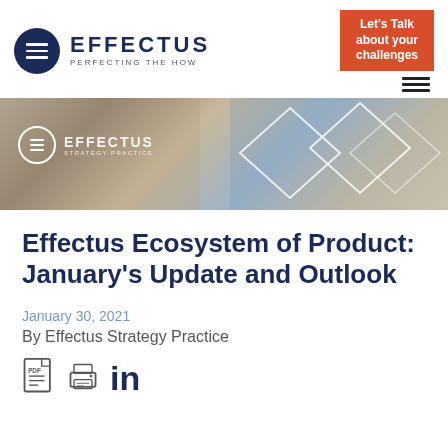[Figure (logo): Effectus logo with dark navy circle containing three horizontal white lines and EFFECTUS text with PERFECTING THE HOW tagline]
[Figure (infographic): Red CTA box reading Let's Talk about your challenges]
[Figure (photo): Hero banner image showing food products, magazines and packaging items with Effectus overlay logo and diamond graphic elements]
Effectus Ecosystem of Product: January's Update and Outlook
January 30, 2021
By Effectus Strategy Practice
[Figure (illustration): Share icons: PDF download icon, print icon, and LinkedIn icon]